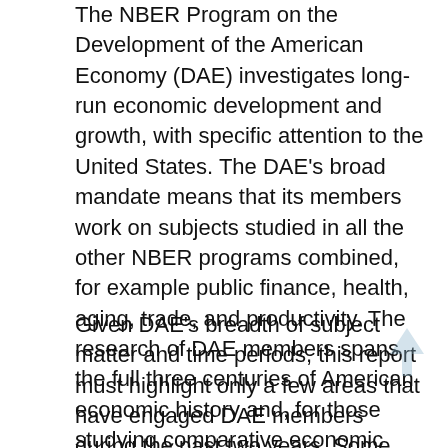The NBER Program on the Development of the American Economy (DAE) investigates long-run economic development and growth, with specific attention to the United States. The DAE's broad mandate means that its members work on subjects studied in all the other NBER programs combined, for example public finance, health, aging, trade, and productivity. The research of DAE members spans the full three centuries of American economic history and, for those studying comparative economic history, the temporal bounds are even wider.
Given DAE's breadth of subject matter and time periods, this report must highlight only a few areas that have engaged DAE members during the past two years. Some involve government and the economy, whereas others are related to health, nutrition, and mortality. The report ends with research on the history of the NBER and information about the NBER's historical archive.